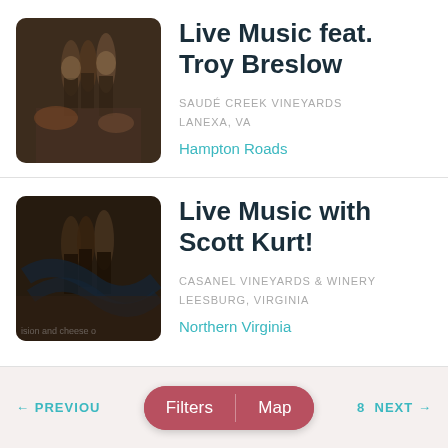[Figure (photo): People toasting with wine glasses at a table with food]
Live Music feat. Troy Breslow
SAUDÉ CREEK VINEYARDS
LANEXA, VA
Hampton Roads
[Figure (photo): People toasting with wine glasses, dark image with text overlay]
Live Music with Scott Kurt!
CASANEL VINEYARDS & WINERY
LEESBURG, VIRGINIA
Northern Virginia
← PREVIOUS  Filters  Map  8  NEXT →